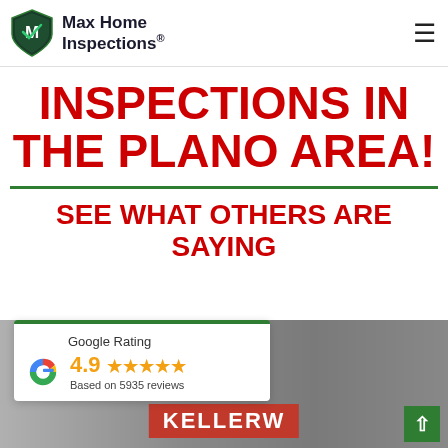Max Home Inspections®
INSPECTIONS IN THE PLANO AREA!
SEE WHAT OTHERS ARE SAYING
[Figure (other): Google Rating widget showing 4.9 stars based on 5935 reviews with Google 'G' logo, overlaid on a photo of a Keller Williams sign]
Google Rating
4.9 ★★★★★
Based on 5935 reviews
KELLERW